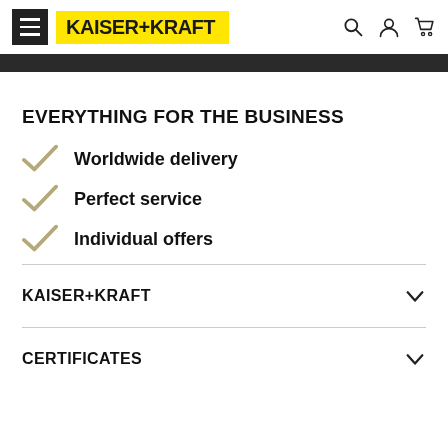KAISER+KRAFT header with hamburger menu, logo, search, account, and cart icons
EVERYTHING FOR THE BUSINESS
Worldwide delivery
Perfect service
Individual offers
KAISER+KRAFT
CERTIFICATES